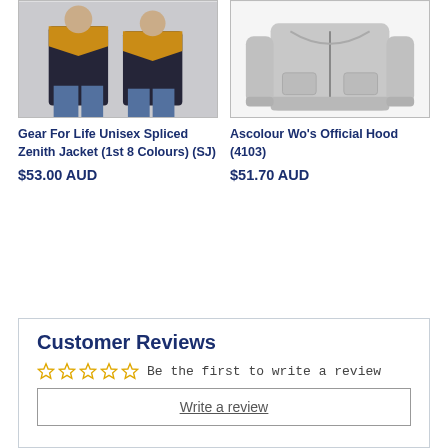[Figure (photo): Two people wearing black and gold Gear For Life Unisex Spliced Zenith Jacket]
[Figure (photo): Grey Ascolour Wo's Official Hood (4103) product photo on white background]
Gear For Life Unisex Spliced Zenith Jacket (1st 8 Colours) (SJ)
$53.00 AUD
Ascolour Wo's Official Hood (4103)
$51.70 AUD
Customer Reviews
Be the first to write a review
Write a review